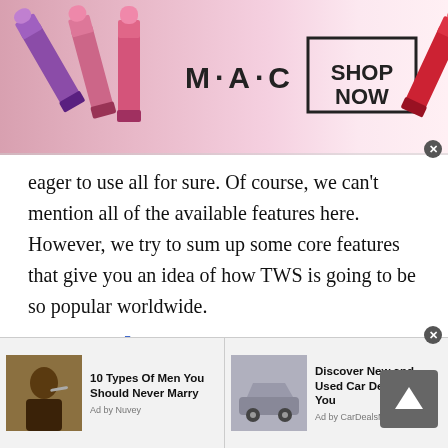[Figure (other): MAC cosmetics advertisement banner showing lipsticks, MAC logo, and a 'SHOP NOW' button]
eager to use all for sure. Of course, we can't mention all of the available features here. However, we try to sum up some core features that give you an idea of how TWS is going to be so popular worldwide.
Text chat
Text chat with strangers can be so easy once you don't need to wait for long. Yes, you can text random
[Figure (other): Bottom advertisement bar with two ads: '10 Types Of Men You Should Never Marry' (Ad by Nuvey) and 'Discover New and Used Car Deals Near You' (Ad by CarDealsNearYou)]